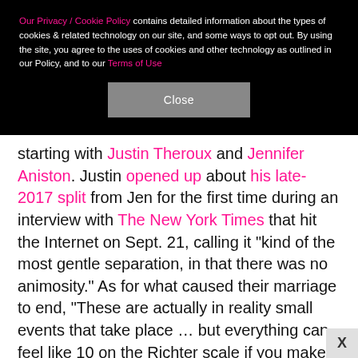Our Privacy / Cookie Policy contains detailed information about the types of cookies & related technology on our site, and some ways to opt out. By using the site, you agree to the uses of cookies and other technology as outlined in our Policy, and to our Terms of Use
Close
starting with Justin Theroux and Jennifer Aniston. Justin opened up about his late-2017 split from Jen for the first time during an interview with The New York Times that hit the Internet on Sept. 21, calling it "kind of the most gentle separation, in that there was no animosity." As for what caused their marriage to end, "These are actually in reality small events that take place … but everything can feel like 10 on the Richter scale if you make the headline big enough and salacious enough," he said
X